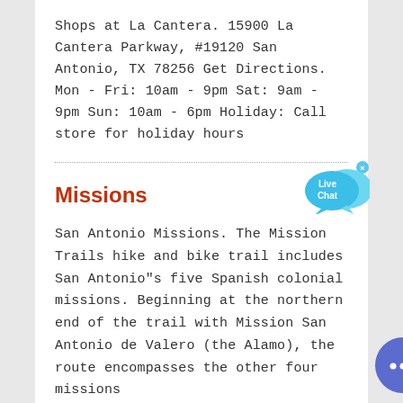Shops at La Cantera. 15900 La Cantera Parkway, #19120 San Antonio, TX 78256 Get Directions. Mon - Fri: 10am - 9pm Sat: 9am - 9pm Sun: 10am - 6pm Holiday: Call store for holiday hours
[Figure (illustration): Live Chat speech bubble widget in light blue]
Missions
San Antonio Missions. The Mission Trails hike and bike trail includes San Antonio"s five Spanish colonial missions. Beginning at the northern end of the trail with Mission San Antonio de Valero (the Alamo), the route encompasses the other four missions
[Figure (illustration): Blue circular chat button with ellipsis (three dots) icon]